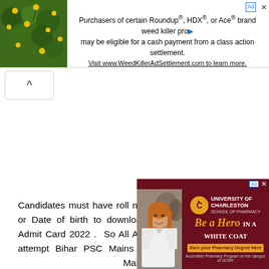[Figure (infographic): Advertisement banner: Roundup/HDX/Ace weed killer class action settlement. Green plant image on left, text on right: 'Purchasers of certain Roundup®, HDX®, or Ace® brand weed killer products may be eligible for a cash payment from a class action settlement. Visit www.WeedKillerAdSettlement.com to learn more.']
[Figure (other): Back navigation button with upward chevron (^) inside a rounded rectangle]
Candidates must have roll number, registration number or Date of birth to download the BPSC CCE Mains Admit Card 2022 . So All Applicants who are going to attempt Bihar PSC Mains written examination 2022 should bring BPSC CCE Mains Exam Admit Card to the examination hall because without admit card are not allowed in examination hall. BPSC CCE Mains
[Figure (infographic): Advertisement for University of Charleston School of Pharmacy. Shows a smiling woman in a white coat on left. Right side has UC logo (gold circle with star on dark red background), university name, and text 'Be a Hero IN A WHITE COAT', 'Earn your Pharmacy Degree Here', 'Accredited Pharmacy Program on the campus of UCWV']